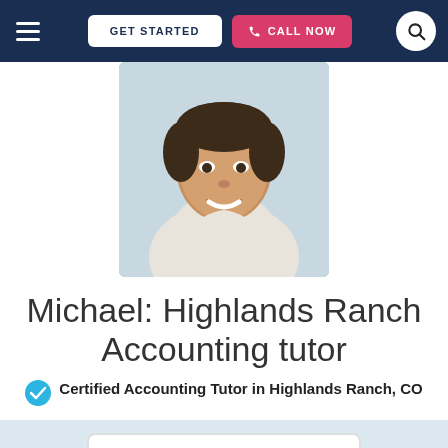GET STARTED | CALL NOW
[Figure (photo): Headshot photo of Michael, a young man with short dark hair wearing a white hoodie, smiling, against a light background]
Michael: Highlands Ranch Accounting tutor
Certified Accounting Tutor in Highlands Ranch, CO